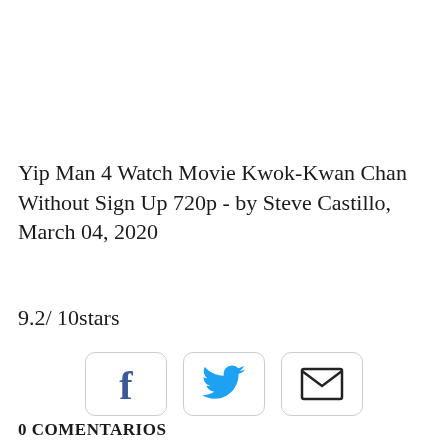Yip Man 4 Watch Movie Kwok-Kwan Chan Without Sign Up 720p - by Steve Castillo, March 04, 2020
9.2/ 10stars
[Figure (other): Three social share buttons: Facebook (f icon), Twitter (bird icon), and Email (envelope icon), each in a rounded rectangle border]
0 COMENTARIOS